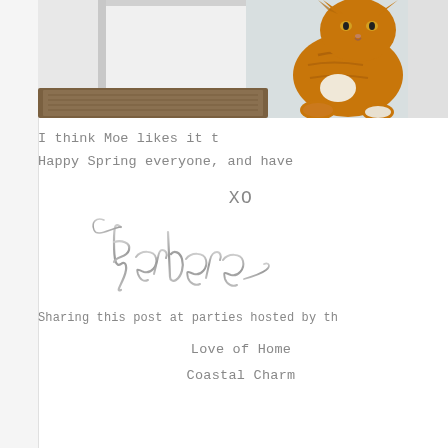[Figure (photo): Orange tabby cat sitting in front of a doorway with a doormat visible, cropped to show upper-right portion of page]
I think Moe likes it t
Happy Spring everyone, and have
XO
[Figure (illustration): Cursive script signature reading 'Barbara']
Sharing this post at parties hosted by th
Love of Home
Coastal Charm